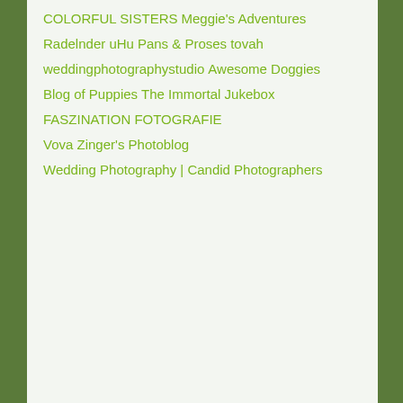COLORFUL SISTERS
Meggie's Adventures
Radelnder uHu
Pans & Proses
tovah
weddingphotographystudio
Awesome Doggies
Blog of Puppies
The Immortal Jukebox
FASZINATION FOTOGRAFIE
Vova Zinger's Photoblog
Wedding Photography | Candid Photographers